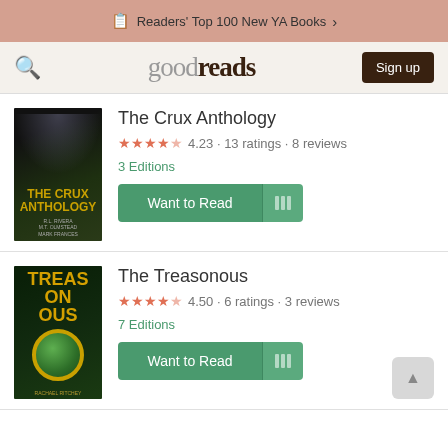Readers' Top 100 New YA Books >
[Figure (screenshot): Goodreads navigation bar with search icon, logo, and Sign up button]
The Crux Anthology
4.23 · 13 ratings · 8 reviews
3 Editions
Want to Read
The Treasonous
4.50 · 6 ratings · 3 reviews
7 Editions
Want to Read